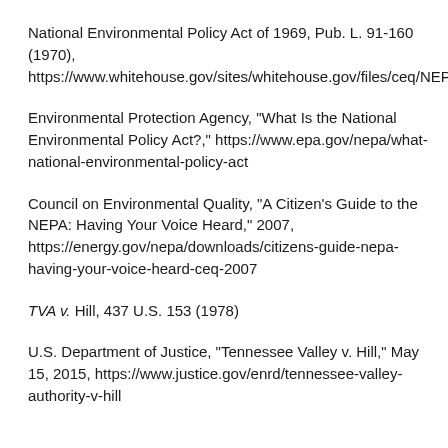National Environmental Policy Act of 1969, Pub. L. 91-160 (1970), https://www.whitehouse.gov/sites/whitehouse.gov/files/ceq/NEPA_fu
Environmental Protection Agency, "What Is the National Environmental Policy Act?," https://www.epa.gov/nepa/what-national-environmental-policy-act
Council on Environmental Quality, "A Citizen's Guide to the NEPA: Having Your Voice Heard," 2007, https://energy.gov/nepa/downloads/citizens-guide-nepa-having-your-voice-heard-ceq-2007
TVA v. Hill, 437 U.S. 153 (1978)
U.S. Department of Justice, "Tennessee Valley v. Hill," May 15, 2015, https://www.justice.gov/enrd/tennessee-valley-authority-v-hill